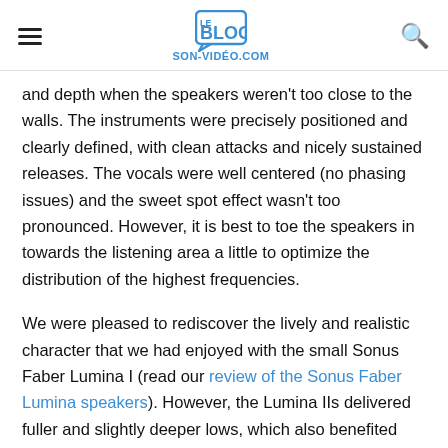Le Blog Son-Vidéo.com
and depth when the speakers weren't too close to the walls. The instruments were precisely positioned and clearly defined, with clean attacks and nicely sustained releases. The vocals were well centered (no phasing issues) and the sweet spot effect wasn't too pronounced. However, it is best to toe the speakers in towards the listening area a little to optimize the distribution of the highest frequencies.
We were pleased to rediscover the lively and realistic character that we had enjoyed with the small Sonus Faber Lumina I (read our review of the Sonus Faber Lumina speakers). However, the Lumina IIs delivered fuller and slightly deeper lows, which also benefited from the roundness of the Rega IO in this frequency range. The 6" driver also added substance to the low mids which were